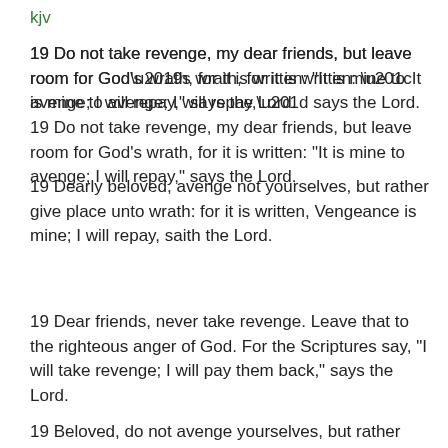kjv
19 Do not take revenge, my dear friends, but leave room for God’s wrath, for it is written: “It is mine to avenge; I will repay,” says the Lord.
19 Dearly beloved, avenge not yourselves, but rather give place unto wrath: for it is written, Vengeance is mine; I will repay, saith the Lord.
19 Dear friends, never take revenge. Leave that to the righteous anger of God. For the Scriptures say, “I will take revenge; I will pay them back,” says the Lord.
19 Beloved, do not avenge yourselves, but rather give place to wrath; for it is written, “Vengeance is